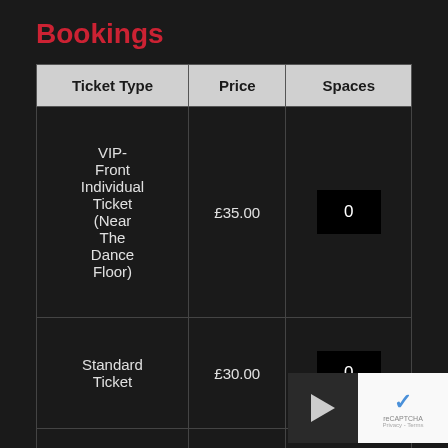Bookings
| Ticket Type | Price | Spaces |
| --- | --- | --- |
| VIP-
Front
Individual
Ticket
(Near
The
Dance
Floor) | £35.00 | 0 |
| Standard
Ticket | £30.00 | 0 |
| Table |  |  |